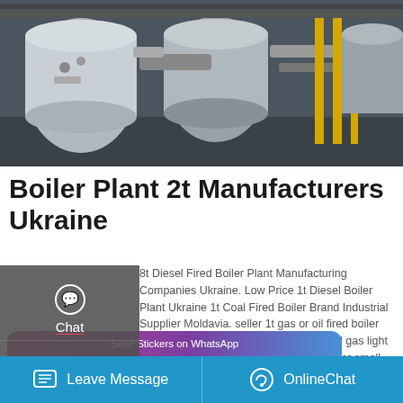[Figure (photo): Industrial boiler plant interior showing large cylindrical boilers and equipment in a factory setting]
Boiler Plant 2t Manufacturers Ukraine
8t Diesel Fired Boiler Plant Manufacturing Companies Ukraine. Low Price 1t Diesel Boiler Plant Ukraine 1t Coal Fired Boiler Brand Industrial Supplier Moldavia. seller 1t gas or oil fired boiler thailand. WNS 1t 2t 3t 4t 6t 8t 10t natural gas light diesel oil fired boiler . smal machine for small industries packaged gas boiler light
[Figure (screenshot): Save Stickers on WhatsApp promotional banner with gradient purple-pink background and WhatsApp/emoji icons]
Leave Message   OnlineChat